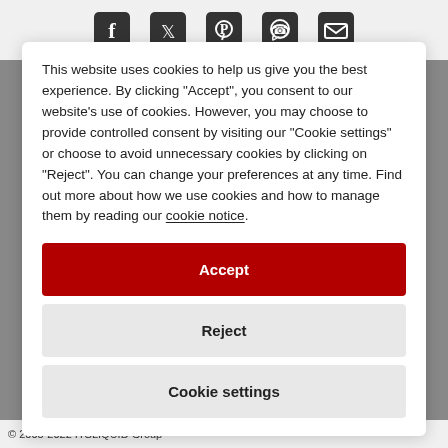[Figure (other): Social media share icons: Facebook, Twitter, Pinterest, WhatsApp, Email]
This website uses cookies to help us give you the best experience. By clicking "Accept", you consent to our website's use of cookies. However, you may choose to provide controlled consent by visiting our "Cookie settings" or choose to avoid unnecessary cookies by clicking on "Reject". You can change your preferences at any time. Find out more about how we use cookies and how to manage them by reading our cookie notice.
Accept
Reject
Cookie settings
© 2005-2022 ITSLIQUID Group